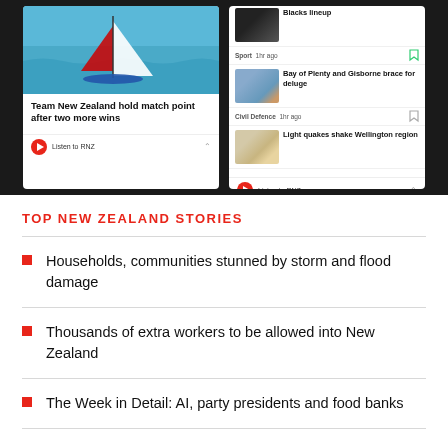[Figure (screenshot): Two smartphone screens showing the RNZ (Radio New Zealand) news app. Left screen shows a sailing boat image with headline 'Team New Zealand hold match point after two more wins' and a 'Listen to RNZ' audio bar. Right screen shows a news feed with items: All Blacks lineup (Sport, 1hr ago), Bay of Plenty and Gisborne brace for deluge (Civil Defence, 1hr ago), Light quakes shake Wellington region.]
TOP NEW ZEALAND STORIES
Households, communities stunned by storm and flood damage
Thousands of extra workers to be allowed into New Zealand
The Week in Detail: AI, party presidents and food banks